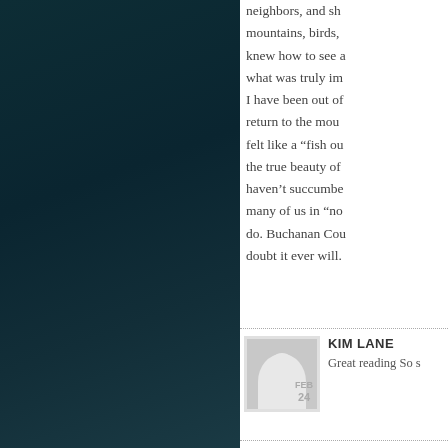neighbors, and she mountains, birds, knew how to see a what was truly im I have been out of return to the moun felt like a "fish ou the true beauty of haven't succumbe many of us in "no do. Buchanan Cou doubt it ever will.
[Figure (illustration): User avatar placeholder showing a person silhouette with FEB 24 date stamp]
KIM LANE
Great reading So s